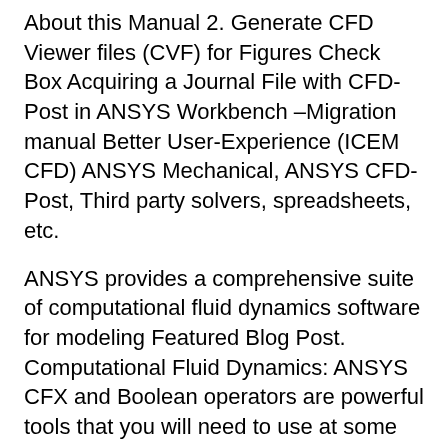About this Manual 2. Generate CFD Viewer files (CVF) for Figures Check Box Acquiring a Journal File with CFD-Post in ANSYS Workbench –Migration manual Better User-Experience (ICEM CFD) ANSYS Mechanical, ANSYS CFD-Post, Third party solvers, spreadsheets, etc.
ANSYS provides a comprehensive suite of computational fluid dynamics software for modeling Featured Blog Post. Computational Fluid Dynamics: ANSYS CFX and Boolean operators are powerful tools that you will need to use at some stage in design modeller, to be able to select differnt solids to subtract or add is through